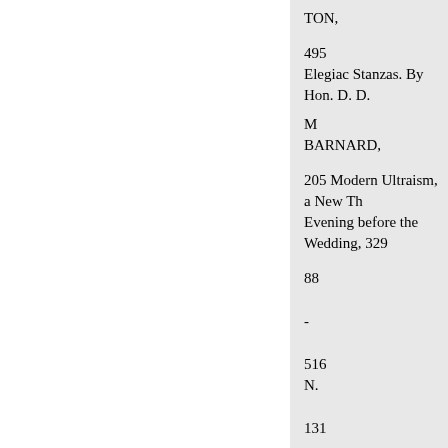TON,
495
Elegiac Stanzas. By Hon. D. D. M
BARNARD,
205 Modern Ultraism, a New Th Evening before the Wedding, 329
88
-
516
N.
131
My Mother's Grave,
119 Stanzas. By B. W. HUNTING Music and Friends,
167 Specimens of Foreign Litera Mr. Horn's Soirées Musicales, 17